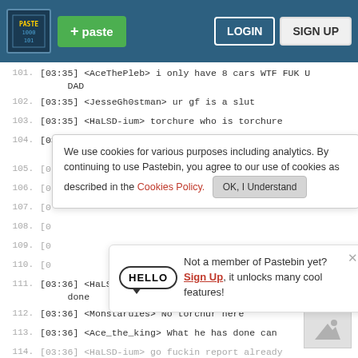Pastebin header with paste button, login, sign up
101. [03:35] <AceThePleb> i only have 8 cars WTF FUK U DAD
102. [03:35] <JesseGh0stman> ur gf is a slut
103. [03:35] <HaLSD-ium> torchure who is torchure
104. [03:35] * AceTheKingHAcks is now known as Mo
We use cookies for various purposes including analytics. By continuing to use Pastebin, you agree to our use of cookies as described in the Cookies Policy. OK, I Understand
105. [0
106. [0
107. [0
108. [0
109. [0
Not a member of Pastebin yet? Sign Up, it unlocks many cool features!
110. [0
111. [03:36] <HaLSD-ium> reports won't get anything done
112. [03:36] <Monstarules> No torchur here
113. [03:36] <Ace_the_king> What he has done can
114. [03:36] <HaLSD-ium> go fuckin report already